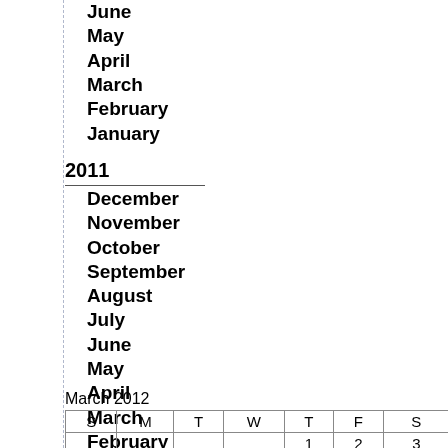June
May
April
March
February
January
2011
December
November
October
September
August
July
June
May
April
March
February
January
2010
December
November
October
September
March 2012
| S | M | T | W | T | F | S |
| --- | --- | --- | --- | --- | --- | --- |
|  |  |  |  | 1 | 2 | 3 |
| 4 | 5 | 6 | 7 | 8 | 9 | 10 |